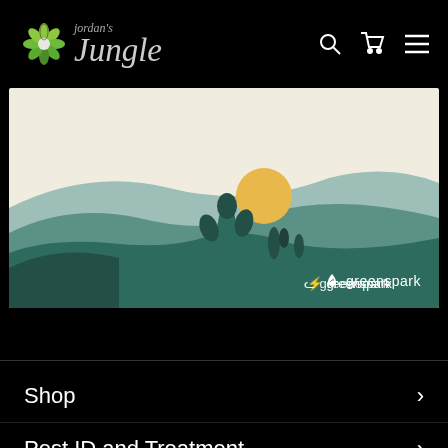[Figure (logo): Jordan's Jungle logo with stylized flower/plant icon and cursive text]
[Figure (illustration): Greenspark banner illustration with rolling green hills, desert plants, and yellow sun on cream background with greenspark branding]
Shop
Pest ID and Treatment